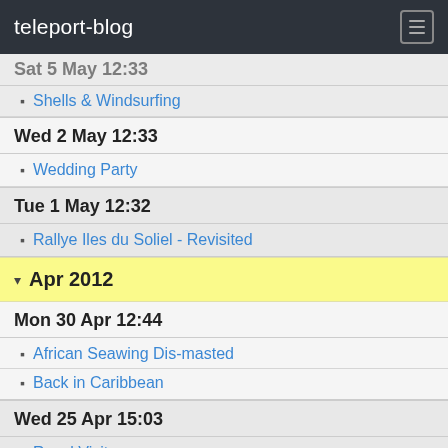teleport-blog
Sat 5 May 12:33
Shells & Windsurfing
Wed 2 May 12:33
Wedding Party
Tue 1 May 12:32
Rallye Iles du Soliel - Revisited
Apr 2012
Mon 30 Apr 12:44
African Seawing Dis-masted
Back in Caribbean
Wed 25 Apr 15:03
Royal Visit
Mar 2012
Mon 5 Mar 17:32
A Thank You from Nicky & David